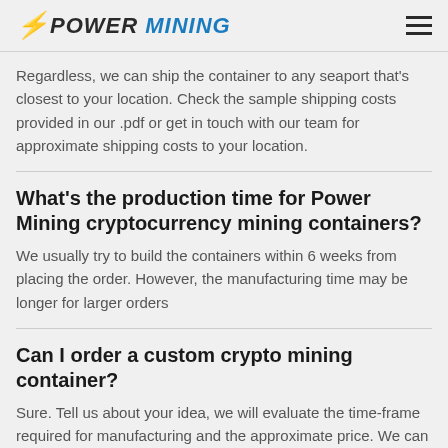POWER MINING
Regardless, we can ship the container to any seaport that's closest to your location. Check the sample shipping costs provided in our .pdf or get in touch with our team for approximate shipping costs to your location.
What's the production time for Power Mining cryptocurrency mining containers?
We usually try to build the containers within 6 weeks from placing the order. However, the manufacturing time may be longer for larger orders
Can I order a custom crypto mining container?
Sure. Tell us about your idea, we will evaluate the time-frame required for manufacturing and the approximate price. We can